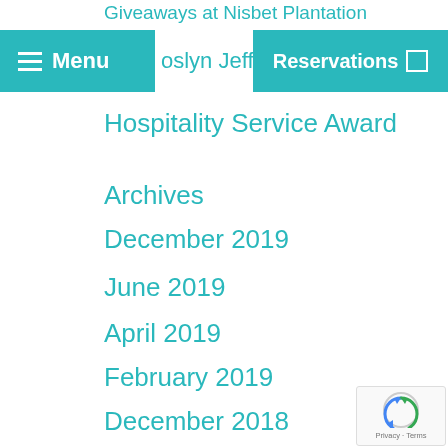Giveaways at Nisbet Plantation
[Figure (screenshot): Navigation bar with teal Menu button (hamburger icon) on left, partial teal link text 'oslyn Jeffers A' in middle, and teal Reservations button on right]
Hospitality Service Award
Archives
December 2019
June 2019
April 2019
February 2019
December 2018
November 2018